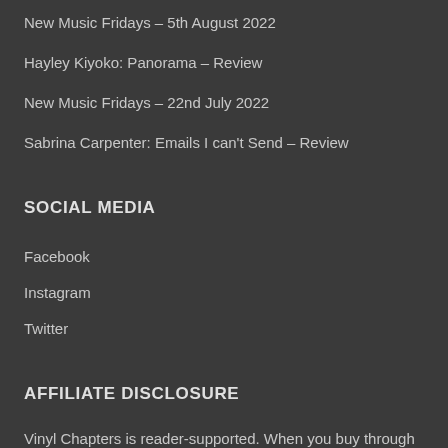New Music Fridays – 5th August 2022
Hayley Kiyoko: Panorama – Review
New Music Fridays – 22nd July 2022
Sabrina Carpenter: Emails I can't Send – Review
SOCIAL MEDIA
Facebook
Instagram
Twitter
AFFILIATE DISCLOSURE
Vinyl Chapters is reader-supported. When you buy through links